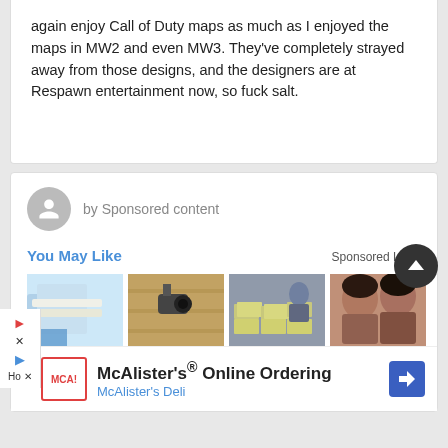again enjoy Call of Duty maps as much as I enjoyed the maps in MW2 and even MW3. They've completely strayed away from those designs, and the designers are at Respawn entertainment now, so fuck salt.
by Sponsored content
You May Like
Sponsored Links
[Figure (photo): Four thumbnail images in a row: dental veneers, security camera, stacks of money, two smiling women]
H T ·
McAlister's® Online Ordering McAlister's Deli